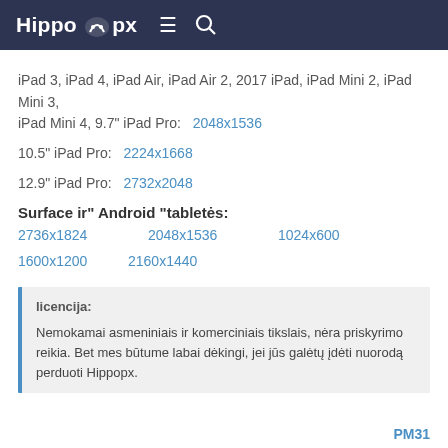Hippo px
iPad 3, iPad 4, iPad Air, iPad Air 2, 2017 iPad, iPad Mini 2, iPad Mini 3, iPad Mini 4, 9.7" iPad Pro:   2048x1536
10.5" iPad Pro:   2224x1668
12.9" iPad Pro:   2732x2048
Surface ir" Android "tabletės:
2736x1824   2048x1536   1024x600   1600x1200   2160x1440
licencija:
Nemokamai asmeniniais ir komerciniais tikslais, nėra priskyrimo reikia. Bet mes būtume labai dėkingi, jei jūs galėtų įdėti nuorodą perduoti Hippopx.
PM31